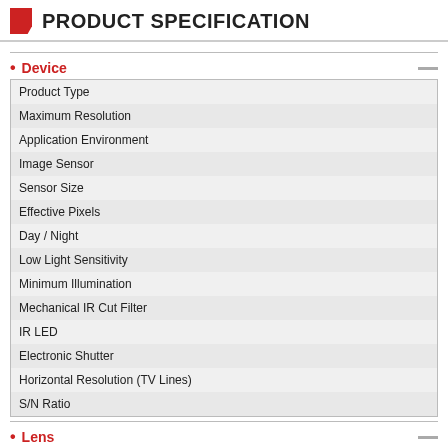PRODUCT SPECIFICATION
Device
| Product Type |
| Maximum Resolution |
| Application Environment |
| Image Sensor |
| Sensor Size |
| Effective Pixels |
| Day / Night |
| Low Light Sensitivity |
| Minimum Illumination |
| Mechanical IR Cut Filter |
| IR LED |
| Electronic Shutter |
| Horizontal Resolution (TV Lines) |
| S/N Ratio |
Lens
| Focal Length |
| Iris |